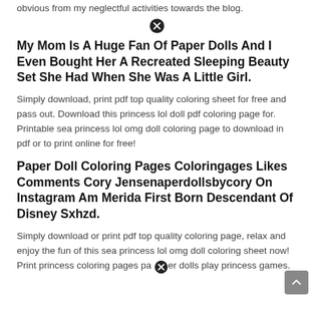obvious from my neglectful activities towards the blog.
My Mom Is A Huge Fan Of Paper Dolls And I Even Bought Her A Recreated Sleeping Beauty Set She Had When She Was A Little Girl.
Simply download, print pdf top quality coloring sheet for free and pass out. Download this princess lol doll pdf coloring page for. Printable sea princess lol omg doll coloring page to download in pdf or to print online for free!
Paper Doll Coloring Pages Coloringages Likes Comments Cory Jensenaperdollsbycory On Instagram Am Merida First Born Descendant Of Disney Sxhzd.
Simply download or print pdf top quality coloring page, relax and enjoy the fun of this sea princess lol omg doll coloring sheet now! Print princess coloring pages paper dolls play princess games.